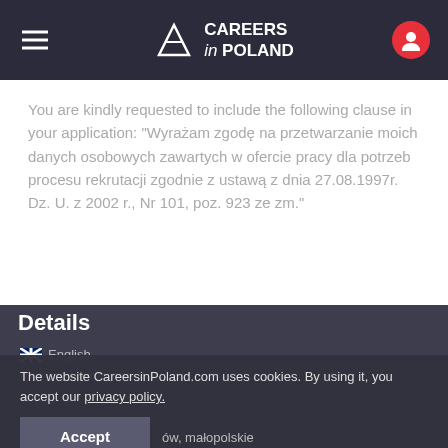CAREERS in POLAND
You are kindly requested to include the following clause in your application: "Wyrażam zgodę na przetwarzanie moich danych osobowych zawartych w ofercie pracy dla potrzeb procesu rekrutacji zgodnie z ustawą z dnia 27.08.1997r. Dz. U. z 2002 r., Nr 101, poz. 923 ze zm."
Details
The website CareersinPoland.com uses cookies. By using it, you accept our privacy policy.
English
Kraków, małopolskie
Accept